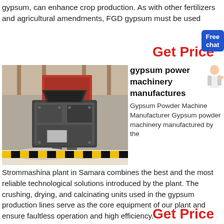gypsum, can enhance crop production. As with other fertilizers and agricultural amendments, FGD gypsum must be used
Get Price
[Figure (photo): Industrial gypsum powder machine / crusher in a factory setting, large gray machine on a floor with yellow-and-black safety stripes]
gypsum power machinery manufactures
Gypsum Powder Machine Manufacturer Gypsum powder machinery manufactured by the Strommashina plant in Samara combines the best and the most reliable technological solutions introduced by the plant. The crushing, drying, and calcinating units used in the gypsum production lines serve as the core equipment of our plant and ensure faultless operation and high efficiency.
Get Price